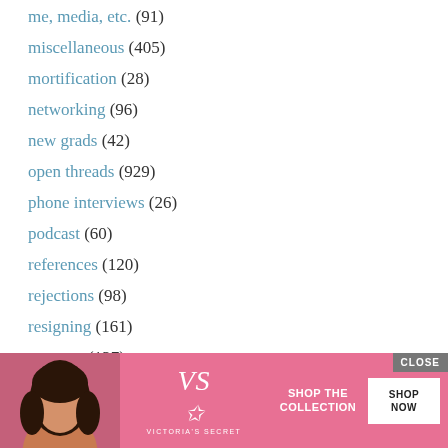me, media, etc. (91)
miscellaneous (405)
mortification (28)
networking (96)
new grads (42)
open threads (929)
phone interviews (26)
podcast (60)
references (120)
rejections (98)
resigning (161)
resumes (127)
salary (274)
short answers (2,873)
sponsors (47)
studen...
thank...
[Figure (advertisement): Victoria's Secret advertisement banner with model photo, VS logo, 'SHOP THE COLLECTION' text, and 'SHOP NOW' button. Has a CLOSE button in top right.]